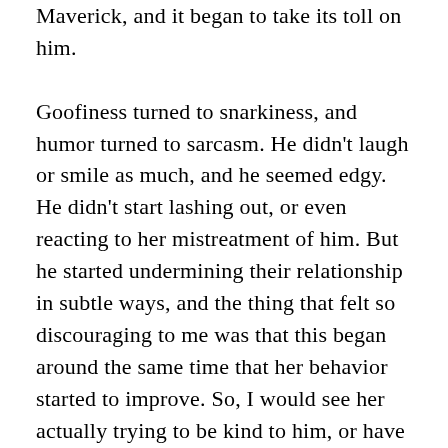Maverick, and it began to take its toll on him.

Goofiness turned to snarkiness, and humor turned to sarcasm. He didn't laugh or smile as much, and he seemed edgy. He didn't start lashing out, or even reacting to her mistreatment of him. But he started undermining their relationship in subtle ways, and the thing that felt so discouraging to me was that this began around the same time that her behavior started to improve. So, I would see her actually trying to be kind to him, or have fun with him, and he would respond flippantly or with sarcasm (which she still doesn't get). She would adopt an interest of his as her own, and instead of taking joy in